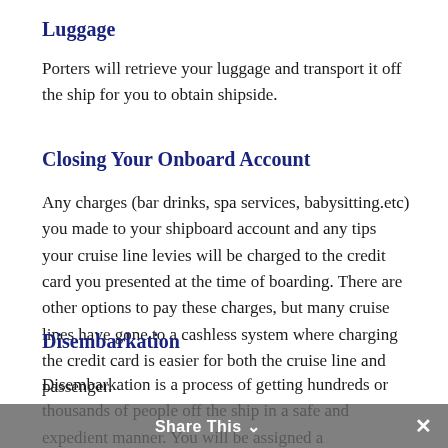Luggage
Porters will retrieve your luggage and transport it off the ship for you to obtain shipside.
Closing Your Onboard Account
Any charges (bar drinks, spa services, babysitting.etc) you made to your shipboard account and any tips your cruise line levies will be charged to the credit card you presented at the time of boarding. There are other options to pay these charges, but many cruise lines have gone to a cashless system where charging the credit card is easier for both the cruise line and passenger.
Disembarkation
Disembarkation is a process of getting hundreds or thousands of people off the ship in a safe and expedient manner. You will be assigned a disembarkation time based on your need to get off the ship (i.e. impending
Share This ∨  ✕